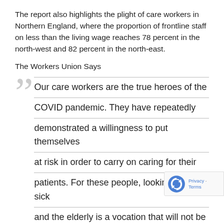The report also highlights the plight of care workers in Northern England, where the proportion of frontline staff on less than the living wage reaches 78 percent in the north-west and 82 percent in the north-east.
The Workers Union Says
Our care workers are the true heroes of the COVID pandemic. They have repeatedly demonstrated a willingness to put themselves at risk in order to carry on caring for their patients. For these people, looking after the sick and the elderly is a vocation that will not be circumscribed by Coronavirus – or any other pathogen.
It is to our detriment that we continue to assume